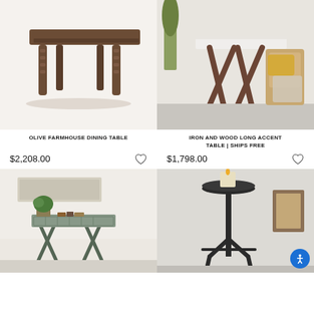[Figure (photo): Dark brown wooden farmhouse dining table with turned legs on white background]
[Figure (photo): Iron and wood long accent table with white marble top, wicker chair, yellow pillow, and beige textile in lifestyle setting]
OLIVE FARMHOUSE DINING TABLE
IRON AND WOOD LONG ACCENT TABLE | SHIPS FREE
$2,208.00
$1,798.00
[Figure (photo): Metal X-frame folding cart/table with wire basket holding plants and books against light wall]
[Figure (photo): Tall black metal accent table with round top holding a candle in room setting]